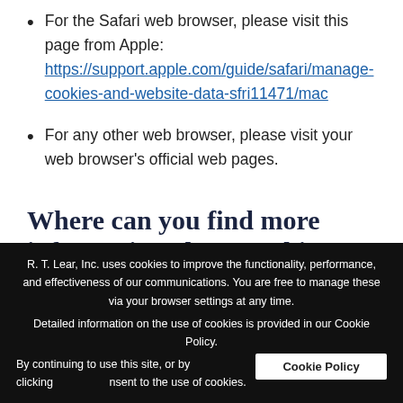For the Safari web browser, please visit this page from Apple: https://support.apple.com/guide/safari/manage-cookies-and-website-data-sfri11471/mac
For any other web browser, please visit your web browser's official web pages.
Where can you find more information about cookies
R. T. Lear, Inc. uses cookies to improve the functionality, performance, and effectiveness of our communications. You are free to manage these via your browser settings at any time.
Detailed information on the use of cookies is provided in our Cookie Policy.
By continuing to use this site, or by clicking ... consent to the use of cookies.
Cookie Policy